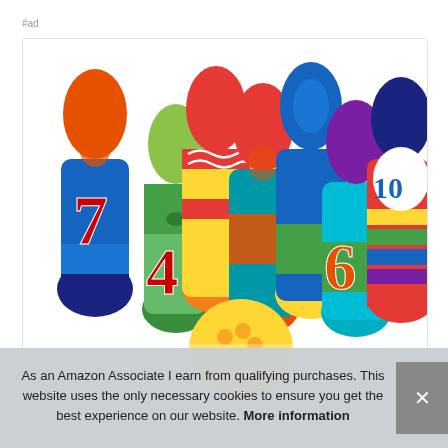#ad
[Figure (photo): Colorful toy bowling pins with numbers on them. Visible numbers include 4, 6, 7, 10. The pins are arranged in a bowling pin formation and feature bright colors including orange, green, blue, red, yellow, and purple.]
As an Amazon Associate I earn from qualifying purchases. This website uses the only necessary cookies to ensure you get the best experience on our website. More information